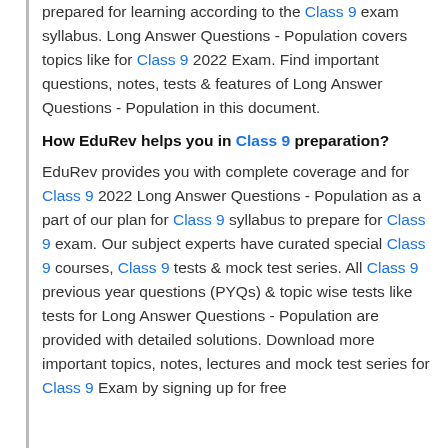prepared for learning according to the Class 9 exam syllabus. Long Answer Questions - Population covers topics like for Class 9 2022 Exam. Find important questions, notes, tests & features of Long Answer Questions - Population in this document.
How EduRev helps you in Class 9 preparation?
EduRev provides you with complete coverage and for Class 9 2022 Long Answer Questions - Population as a part of our plan for Class 9 syllabus to prepare for Class 9 exam. Our subject experts have curated special Class 9 courses, Class 9 tests & mock test series. All Class 9 previous year questions (PYQs) & topic wise tests like tests for Long Answer Questions - Population are provided with detailed solutions. Download more important topics, notes, lectures and mock test series for Class 9 Exam by signing up for free